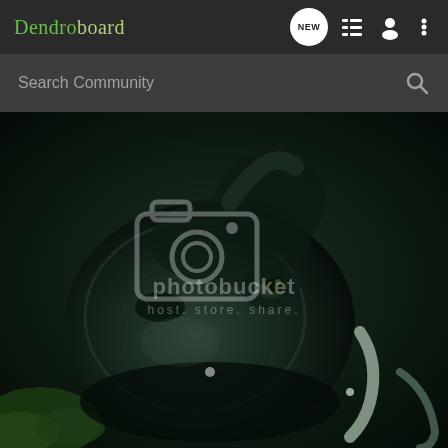Dendroboard
Search Community
[Figure (photo): Close-up photo of a dark-colored frog or toad on moss, with a Photobucket watermark overlay reading 'photobucket host. store. share.']